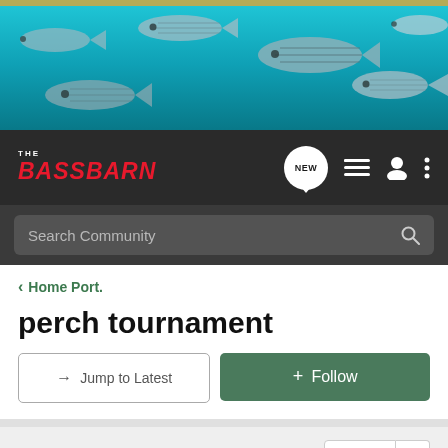[Figure (photo): Banner image showing a school of striped fish underwater with teal/blue water background]
[Figure (logo): The Bass Barn forum logo - red italic text on dark background with navigation icons including NEW bubble, list icon, user icon, and menu dots]
Search Community
< Home Port.
perch tournament
→ Jump to Latest
+ Follow
1 - 20 of 21 Posts
1 of 2 ▶
Its Gittin Deep · Registered